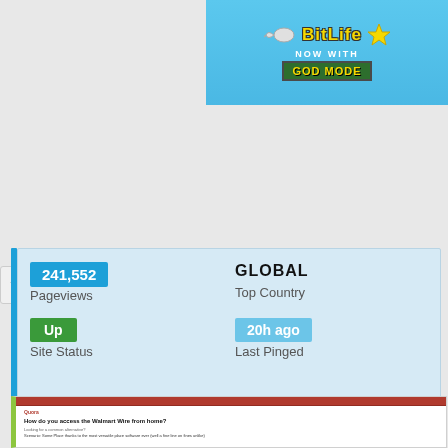[Figure (screenshot): BitLife advertisement banner - NOW WITH GOD MODE]
241,552
Pageviews
GLOBAL
Top Country
Up
Site Status
20h ago
Last Pinged
[Figure (screenshot): Quora page screenshot showing question: How do you access the Walmart Wire from home?]